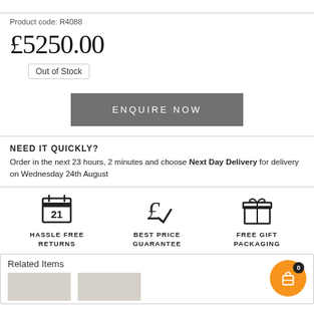Product code: R4088
£5250.00
Out of Stock
ENQUIRE NOW
NEED IT QUICKLY? Order in the next 23 hours, 2 minutes and choose Next Day Delivery for delivery on Wednesday 24th August
[Figure (infographic): Three icons: calendar with 21 (Hassle Free Returns), pound sign with checkmark (Best Price Guarantee), gift box (Free Gift Packaging)]
Related Items